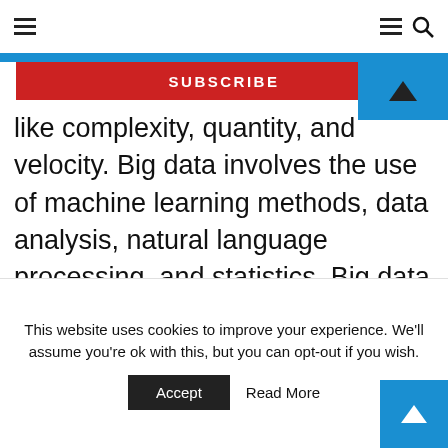≡  ≡ 🔍
SUBSCRIBE
like complexity, quantity, and velocity. Big data involves the use of machine learning methods, data analysis, natural language processing, and statistics. Big data can be leveraged to do multiple operations on a single platform. You can use several Big Data applications to store, preprocess, analyze, and visualize data.

Extracts, prepare, and blends data to provide
This website uses cookies to improve your experience. We'll assume you're ok with this, but you can opt-out if you wish.
Accept   Read More